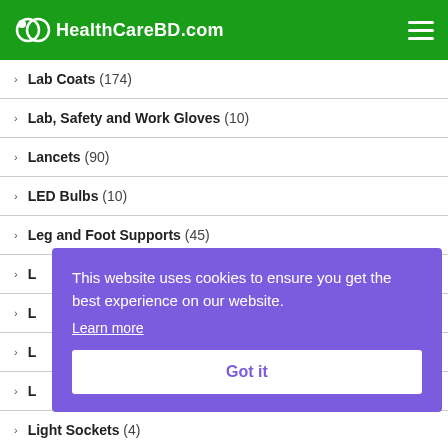HealthCareBD.com
Lab Coats (174)
Lab, Safety and Work Gloves (10)
Lancets (90)
LED Bulbs (10)
Leg and Foot Supports (45)
L...
L...
L...
L...
Light Sockets (4)
This website uses cookies to ensure you get the best experience on our website. Learn more Got it